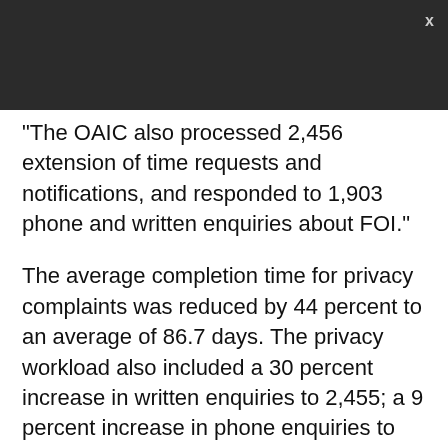"The OAIC also processed 2,456 extension of time requests and notifications, and responded to 1,903 phone and written enquiries about FOI."
The average completion time for privacy complaints was reduced by 44 percent to an average of 86.7 days. The privacy workload also included a 30 percent increase in written enquiries to 2,455; a 9 percent increase in phone enquiries to 11,737; a 16 percent increase in data breach notifications to 71; and a 60 percent increase in privacy audits to eight.